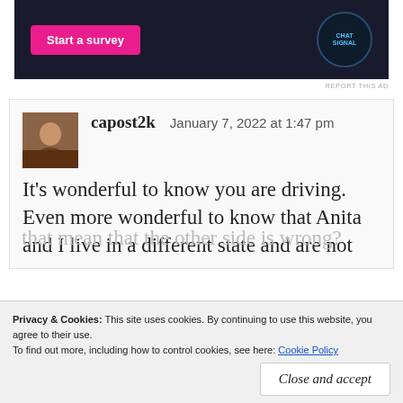[Figure (screenshot): Advertisement banner with dark navy background, pink 'Start a survey' button on the left and a circular ChatSignal badge on the right]
REPORT THIS AD
capost2k   January 7, 2022 at 1:47 pm

It's wonderful to know you are driving. Even more wonderful to know that Anita and I live in a different state and are not
Privacy & Cookies: This site uses cookies. By continuing to use this website, you agree to their use.
To find out more, including how to control cookies, see here: Cookie Policy
Close and accept
that mean that the other side is wrong?